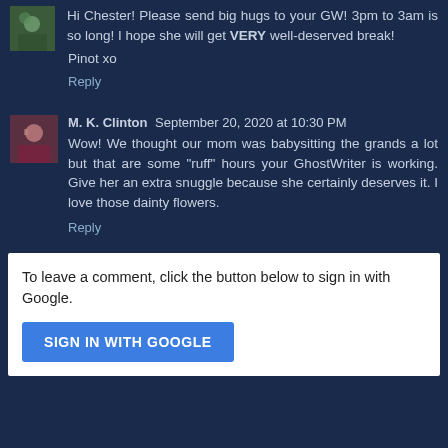Hi Chester! Please send big hugs to your GW! 3pm to 3am is so long! I hope she will get VERY well-deserved break!
Pinot xo
Reply
M. K. Clinton  September 20, 2020 at 10:30 PM
Wow! We thought our mom was babysitting the grands a lot but that are some "ruff" hours your GhostWriter is working. Give her an extra snuggle because she certainly deserves it. I love those dainty flowers.
Reply
To leave a comment, click the button below to sign in with Google.
SIGN IN WITH GOOGLE